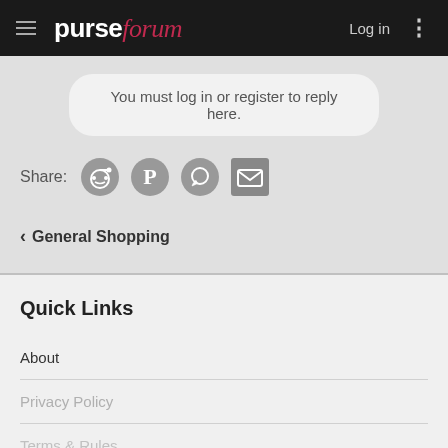purseforum — Log in
You must log in or register to reply here.
Share:
‹ General Shopping
Quick Links
About
Privacy Policy
Terms & Rules
Contact Us